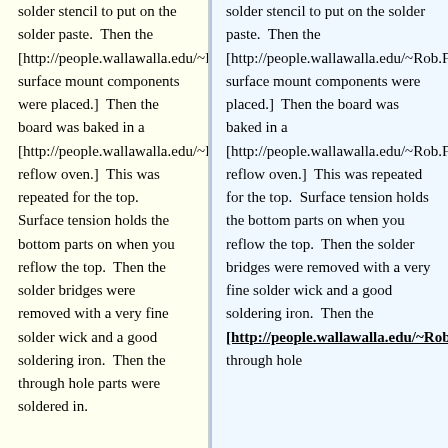solder stencil to put on the solder paste. Then the [http://people.wallawalla.edu/~Rob.Frohne/Hermes/back_paste.jpg surface mount components were placed.] Then the board was baked in a [http://people.wallawalla.edu/~Rob.Frohne/Hermes/coming_out_oven.jpg reflow oven.] This was repeated for the top. Surface tension holds the bottom parts on when you reflow the top. Then the solder bridges were removed with a very fine solder wick and a good soldering iron. Then the through hole parts were soldered in.
solder stencil to put on the solder paste. Then the [http://people.wallawalla.edu/~Rob.Frohne/Hermes/back_paste.jpg surface mount components were placed.] Then the board was baked in a [http://people.wallawalla.edu/~Rob.Frohne/Hermes/coming_out_oven.jpg reflow oven.] This was repeated for the top. Surface tension holds the bottom parts on when you reflow the top. Then the solder bridges were removed with a very fine solder wick and a good soldering iron. Then the [http://people.wallawalla.edu/~Rob.Frohne/Hermes/top_bridges_repaired.jpg through hole